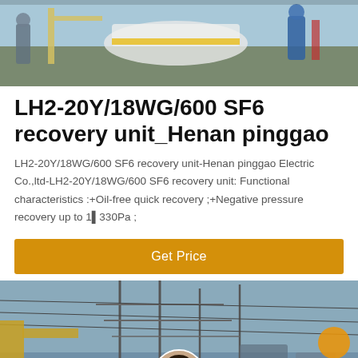[Figure (photo): Workers on industrial/electrical equipment with cranes and machinery, outdoor industrial setting]
LH2-20Y/18WG/600 SF6 recovery unit_Henan pinggao
LH2-20Y/18WG/600 SF6 recovery unit-Henan pinggao Electric Co.,ltd-LH2-20Y/18WG/600 SF6 recovery unit: Functional characteristics :+Oil-free quick recovery ;+Negative pressure recovery up to 1▌330Pa ;
[Figure (photo): Industrial electrical substation with power lines, cranes, yellow equipment. Customer service representative avatar with headset overlaid. Orange dot decoration. Dark semi-transparent footer bar with Leave Message and Chat Online buttons.]